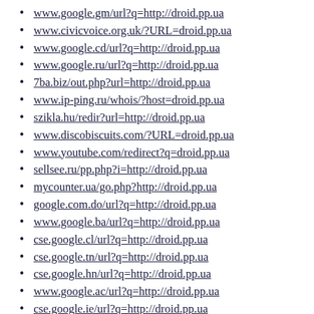www.google.gm/url?q=http://droid.pp.ua
www.civicvoice.org.uk/?URL=droid.pp.ua
www.google.cd/url?q=http://droid.pp.ua
www.google.ru/url?q=http://droid.pp.ua
7ba.biz/out.php?url=http://droid.pp.ua
www.ip-ping.ru/whois/?host=droid.pp.ua
szikla.hu/redir?url=http://droid.pp.ua
www.discobiscuits.com/?URL=droid.pp.ua
www.youtube.com/redirect?q=droid.pp.ua
sellsee.ru/pp.php?i=http://droid.pp.ua
mycounter.ua/go.php?http://droid.pp.ua
google.com.do/url?q=http://droid.pp.ua
www.google.ba/url?q=http://droid.pp.ua
cse.google.cl/url?q=http://droid.pp.ua
cse.google.tn/url?q=http://droid.pp.ua
cse.google.hn/url?q=http://droid.pp.ua
www.google.ac/url?q=http://droid.pp.ua
cse.google.ie/url?q=http://droid.pp.ua
cse.google.cv/url?q=http://droid.pp.ua